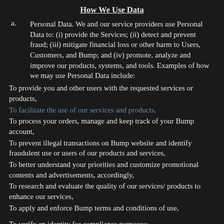How We Use Data
a. Personal Data. We and our service providers use Personal Data to: (i) provide the Services; (ii) detect and prevent fraud; (iii) mitigate financial loss or other harm to Users, Customers, and Bump; and (iv) promote, analyze and improve our products, systems, and tools. Examples of how we may use Personal Data include:
To provide you and other users with the requested services or products,
To facilitate the use of our services and products,
To process your orders, manage and keep track of your Bump account,
To prevent illegal transactions on Bump website and identify fraudulent use or users of our products and services,
To better understand your priorities and customize promotional contents and advertisements, accordingly,
To research and evaluate the quality of our services/ products to enhance our services,
To apply and enforce Bump terms and conditions of use,
To verify an identity for compliance purposes;
To evaluate an application to use our Services;
To conduct our general business operations, it is for fraudulent...